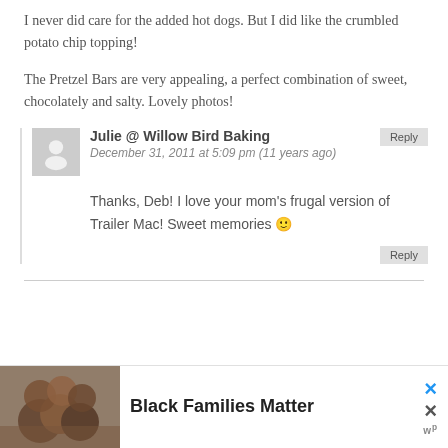I never did care for the added hot dogs. But I did like the crumbled potato chip topping!
The Pretzel Bars are very appealing, a perfect combination of sweet, chocolately and salty. Lovely photos!
Julie @ Willow Bird Baking
December 31, 2011 at 5:09 pm (11 years ago)
Thanks, Deb! I love your mom's frugal version of Trailer Mac! Sweet memories 🙂
[Figure (photo): Advertisement with photo of smiling Black family and text 'Black Families Matter']